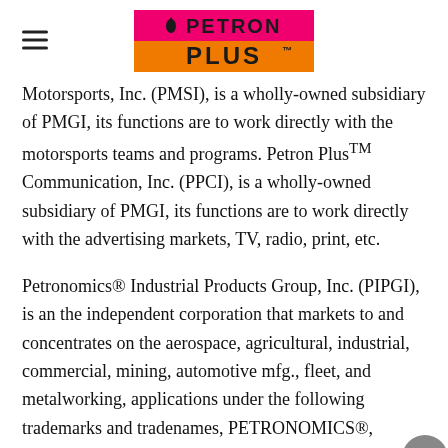Petron Plus logo header with hamburger menu
Motorsports, Inc. (PMSI), is a wholly-owned subsidiary of PMGI, its functions are to work directly with the motorsports teams and programs. Petron PlusTM Communication, Inc. (PPCI), is a wholly-owned subsidiary of PMGI, its functions are to work directly with the advertising markets, TV, radio, print, etc.
Petronomics® Industrial Products Group, Inc. (PIPGI), is an the independent corporation that markets to and concentrates on the aerospace, agricultural, industrial, commercial, mining, automotive mfg., fleet, and metalworking, applications under the following trademarks and tradenames, PETRONOMICS®, PETRONOMICS® Formula 7 and PETRONOMICS®